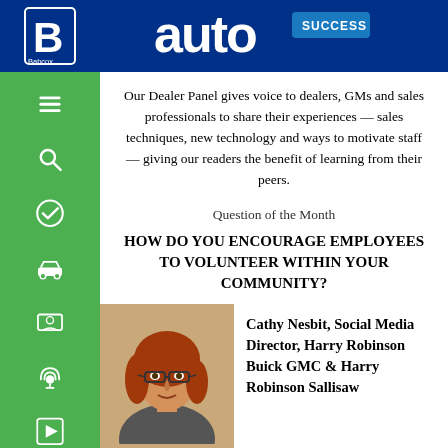auto SUCCESS
Our Dealer Panel gives voice to dealers, GMs and sales professionals to share their experiences — sales techniques, new technology and ways to motivate staff — giving our readers the benefit of learning from their peers.
Question of the Month
HOW DO YOU ENCOURAGE EMPLOYEES TO VOLUNTEER WITHIN YOUR COMMUNITY?
[Figure (photo): Photo of Cathy Nesbit, a woman with red hair and glasses]
Cathy Nesbit, Social Media Director, Harry Robinson Buick GMC & Harry Robinson Sallisaw